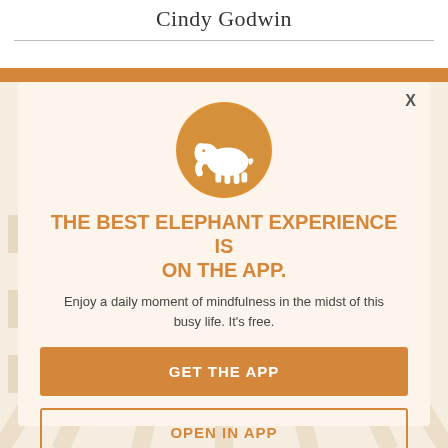Cindy Godwin
[Figure (screenshot): App promotion modal overlay with elephant logo icon, headline 'THE BEST ELEPHANT EXPERIENCE IS ON THE APP.', body text, and two CTA buttons: 'GET THE APP' and 'OPEN IN APP'. Background shows blurred article feed with orange banner at top.]